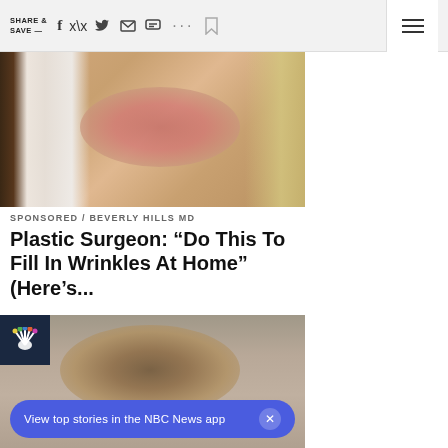SHARE & SAVE —
[Figure (photo): Close-up of a woman's face with full lips while a man in a white coat administers an injection near her mouth]
SPONSORED / BEVERLY HILLS MD
Plastic Surgeon: “Do This To Fill In Wrinkles At Home” (Here’s...
[Figure (photo): NBC News sponsored card showing a woman with brown hair, NBC peacock logo in top left corner]
View top stories in the NBC News app